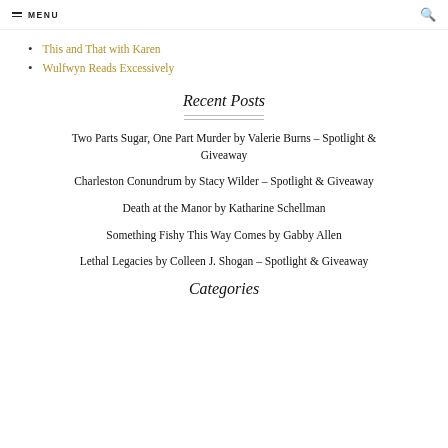MENU
This and That with Karen
Wulfwyn Reads Excessively
Recent Posts
Two Parts Sugar, One Part Murder by Valerie Burns – Spotlight & Giveaway
Charleston Conundrum by Stacy Wilder – Spotlight & Giveaway
Death at the Manor by Katharine Schellman
Something Fishy This Way Comes by Gabby Allen
Lethal Legacies by Colleen J. Shogan – Spotlight & Giveaway
Categories